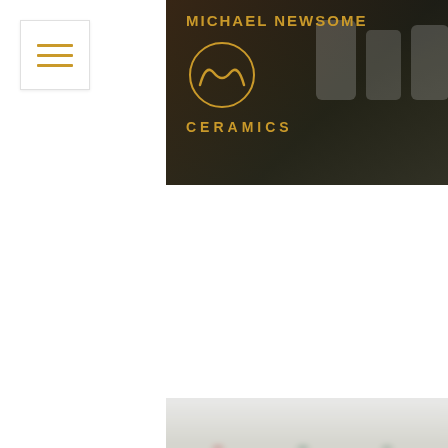[Figure (logo): Navigation menu button with three horizontal golden/amber colored lines on white background with light border]
[Figure (photo): Michael Newsome Ceramics banner with dark background, golden text reading MICHAEL NEWSOME above a circular logo with stylized M wave design, and CERAMICS text below. Background shows blurred ceramic products.]
[Figure (photo): Blurred product photo showing four ceramic bottles or containers arranged in a row, each with colored caps (red, green, sage, brown) and white ceramic bodies with colored labels, sitting on golden/yellow bases with blue-gray footings.]